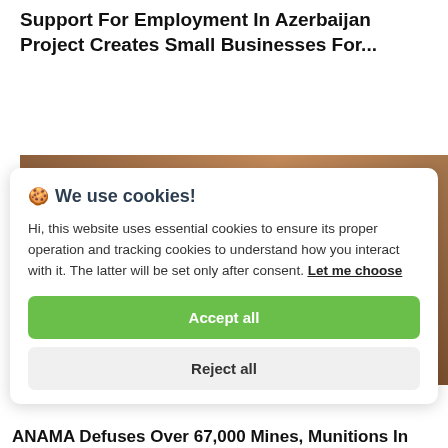Support For Employment In Azerbaijan Project Creates Small Businesses For...
[Figure (photo): A brownish background image partially visible behind the cookie consent modal]
🍪 We use cookies!

Hi, this website uses essential cookies to ensure its proper operation and tracking cookies to understand how you interact with it. The latter will be set only after consent. Let me choose

[Accept all] [Reject all]
ANAMA Defuses Over 67,000 Mines, Munitions In